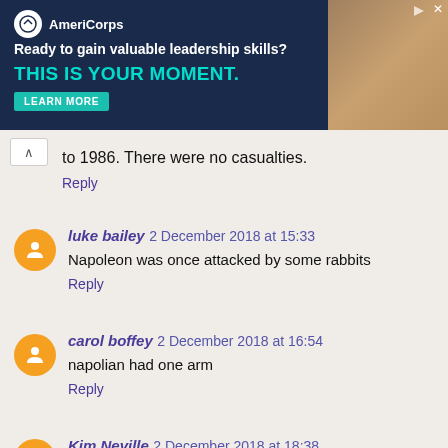[Figure (screenshot): AmeriCorps advertisement banner: 'Ready to gain valuable leadership skills? THIS IS YOUR MOMENT. LEARN MORE' with photo of students on right side]
to 1986. There were no casualties.
Reply
luke bailey 2 December 2018 at 15:33
Napoleon was once attacked by some rabbits
Reply
carol boffey 2 December 2018 at 16:54
napolian had one arm
Reply
Kim Neville 2 December 2018 at 18:38
One of strange Hitler facts is that he lost his one testicle